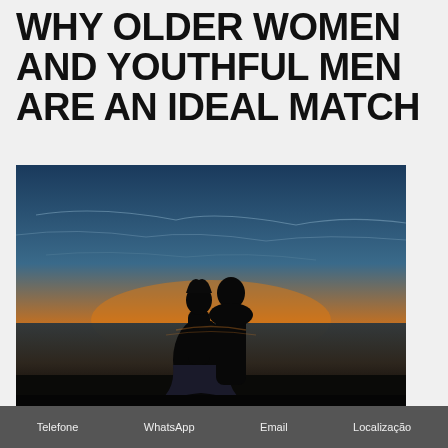WHY OLDER WOMEN AND YOUTHFUL MEN ARE AN IDEAL MATCH
[Figure (photo): Silhouette of a couple dancing or embracing at sunset by the ocean, with a colorful orange and blue sky in the background. The woman appears to be wearing a wedding dress.]
UPDATES ON IMMEDIATE PLANS OF RU BRIDES
Telefone   WhatsApp   Email   Localização